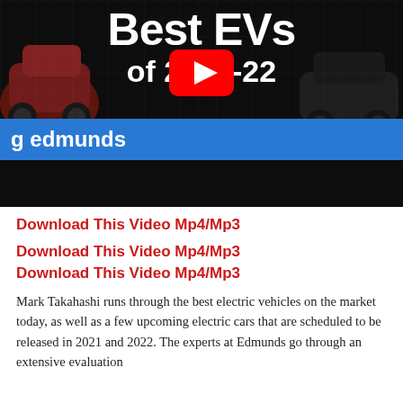[Figure (screenshot): YouTube video thumbnail showing 'Best EVs of 2021-22' with YouTube play button, Edmunds branding bar in blue, cars in dark background]
Download This Video Mp4/Mp3
Download This Video Mp4/Mp3
Download This Video Mp4/Mp3
Mark Takahashi runs through the best electric vehicles on the market today, as well as a few upcoming electric cars that are scheduled to be released in 2021 and 2022. The experts at Edmunds go through an extensive evaluation